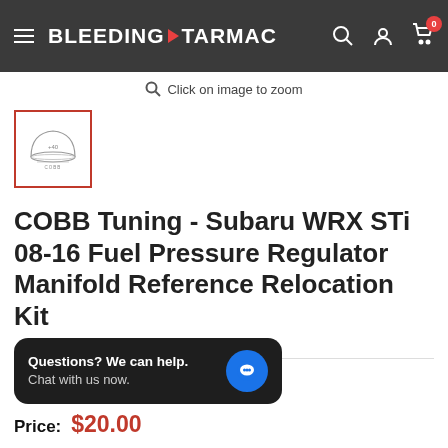BLEEDING TARMAC
Click on image to zoom
[Figure (photo): Thumbnail image of COBB Tuning Fuel Pressure Regulator Manifold Reference Relocation Kit, showing a dome-shaped component with COBB branding, selected with red border]
COBB Tuning - Subaru WRX STi 08-16 Fuel Pressure Regulator Manifold Reference Relocation Kit
Questions? We can help. Chat with us now.
Price: $20.00